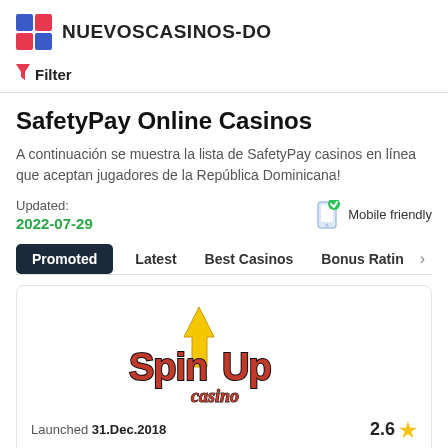NUEVOSCASINOS-DO
Filter
SafetyPay Online Casinos
A continuación se muestra la lista de SafetyPay casinos en línea que aceptan jugadores de la República Dominicana!
Updated: 2022-07-29   Mobile friendly
Promoted  Latest  Best Casinos  Bonus Rating
[Figure (logo): SpinUp Casino logo with yellow arrow and red stylized text]
Launched 31.Dec.2018   2.6 ★